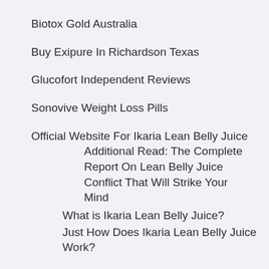Biotox Gold Australia
Buy Exipure In Richardson Texas
Glucofort Independent Reviews
Sonovive Weight Loss Pills
Official Website For Ikaria Lean Belly Juice
Additional Read: The Complete Report On Lean Belly Juice Conflict That Will Strike Your Mind
What is Ikaria Lean Belly Juice?
Just How Does Ikaria Lean Belly Juice Work?